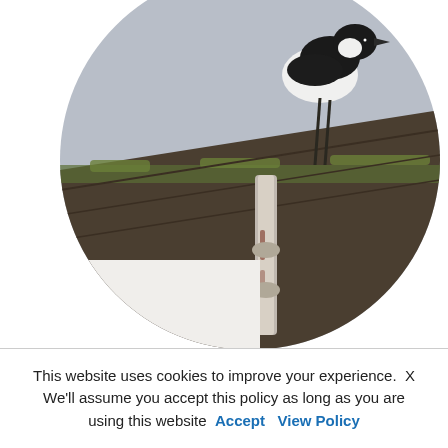[Figure (photo): A black and white magpie bird perched on a moss-covered rooftop with old broken guttering/downpipe, grey sky background, cropped in a circular frame]
[Figure (other): Facebook and Twitter social share buttons stacked vertically on the left side]
[Figure (other): Partial grey circle visible at the bottom of the page, suggesting a second circular image below the fold]
This website uses cookies to improve your experience. X We'll assume you accept this policy as long as you are using this website  Accept  View Policy